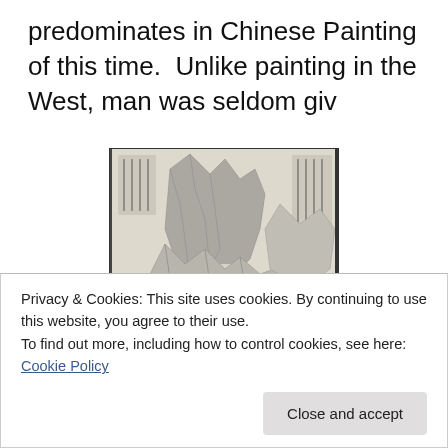predominates in Chinese Painting of this time.  Unlike painting in the West, man was seldom giv
[Figure (illustration): A classical Chinese landscape painting in ink wash style, showing mountains, mist, trees, and small human figures in a vertical scroll format.]
Privacy & Cookies: This site uses cookies. By continuing to use this website, you agree to their use.
To find out more, including how to control cookies, see here: Cookie Policy
Close and accept